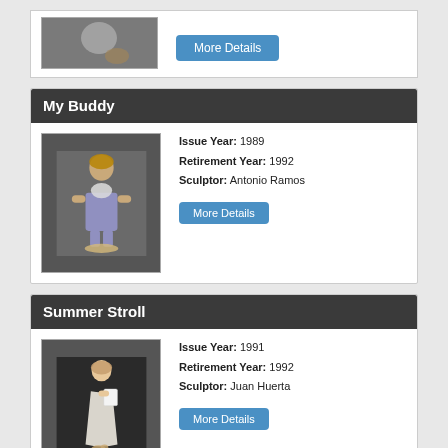[Figure (photo): Partial view of a figurine with a basket, top of page]
[Figure (photo): Button labeled More Details (blue)]
My Buddy
[Figure (photo): Figurine of a boy holding a puppy, wearing purple pants]
Issue Year: 1989
Retirement Year: 1992
Sculptor: Antonio Ramos
[Figure (photo): Button labeled More Details (blue)]
Summer Stroll
[Figure (photo): Figurine of a girl in white dress holding a book, with a small animal at her feet]
Issue Year: 1991
Retirement Year: 1992
Sculptor: Juan Huerta
[Figure (photo): Button labeled More Details (blue)]